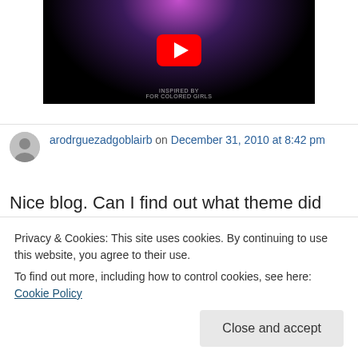[Figure (screenshot): YouTube video thumbnail with dark background and colorful art, showing a red YouTube play button in the center. Bottom text reads 'INSPIRED BY FOR COLORED GIRLS'.]
arodrguezadgoblairb on December 31, 2010 at 8:42 pm
Nice blog. Can I find out what theme did you
Privacy & Cookies: This site uses cookies. By continuing to use this website, you agree to their use.
To find out more, including how to control cookies, see here: Cookie Policy
Close and accept